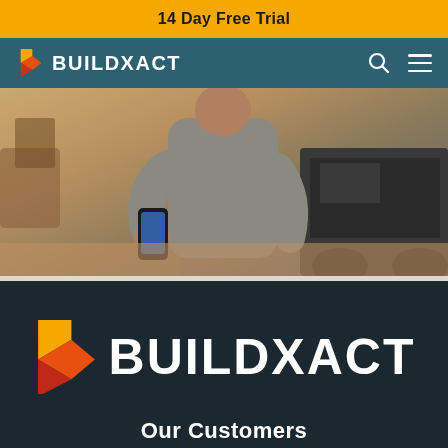14 Day Free Trial
[Figure (logo): BuildXact logo with orange-red 'b' icon and white text 'BUILDXACT' on teal navigation bar, with search and menu icons on the right]
[Figure (photo): Person standing outdoors on a construction site holding a mobile phone/tablet, wearing a grey t-shirt, with construction vehicles in the background]
[Figure (logo): Large BuildXact logo centered on dark navy background: orange-red 'b' icon with text 'BUILDXACT' in white on dark background]
Our Customers